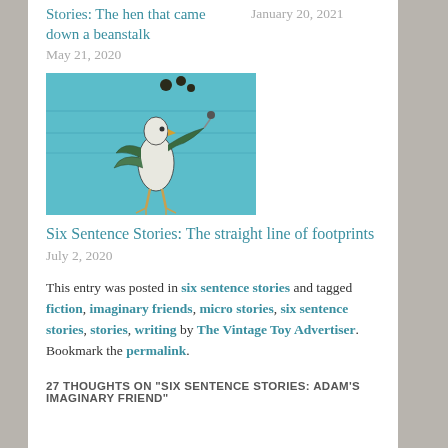Stories: The hen that came down a beanstalk
May 21, 2020
January 20, 2021
[Figure (photo): Painting or illustration of a bird-like figure on a teal/turquoise background]
Six Sentence Stories: The straight line of footprints
July 2, 2020
This entry was posted in six sentence stories and tagged fiction, imaginary friends, micro stories, six sentence stories, stories, writing by The Vintage Toy Advertiser. Bookmark the permalink.
27 THOUGHTS ON "SIX SENTENCE STORIES: ADAM'S IMAGINARY FRIEND"